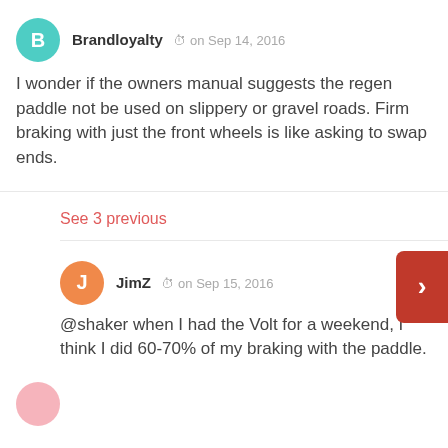Brandloyalty   on Sep 14, 2016
I wonder if the owners manual suggests the regen paddle not be used on slippery or gravel roads. Firm braking with just the front wheels is like asking to swap ends.
See 3 previous
JimZ   on Sep 15, 2016
@shaker when I had the Volt for a weekend, I think I did 60-70% of my braking with the paddle.